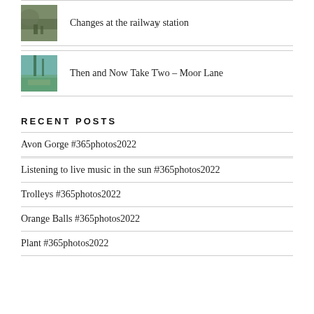[Figure (photo): Small thumbnail photo of railway station area with trees and rocks]
Changes at the railway station
[Figure (photo): Small thumbnail photo of Moor Lane road with trees]
Then and Now Take Two – Moor Lane
RECENT POSTS
Avon Gorge #365photos2022
Listening to live music in the sun #365photos2022
Trolleys #365photos2022
Orange Balls #365photos2022
Plant #365photos2022